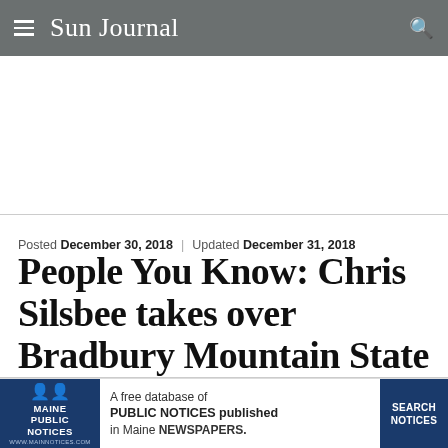Sun Journal
Posted December 30, 2018  |  Updated December 31, 2018
People You Know: Chris Silsbee takes over Bradbury Mountain State Park
[Figure (infographic): Maine Public Notices advertisement banner: logo on left with text 'A free database of PUBLIC NOTICES published in Maine NEWSPAPERS.' and a 'SEARCH NOTICES' button on right.]